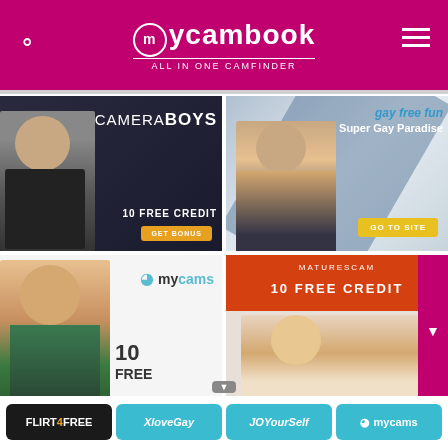mycambook — ALL IN ONE CAMFINDER
[Figure (screenshot): CameraBoys ad — 10 FREE CREDIT, GET BONUS button]
[Figure (screenshot): Gay Free Fun — Super Gay Paradise, GO TO SITE button]
[Figure (screenshot): MyCams ad — 10 FREE]
[Figure (screenshot): MaturesCam ad — 10 FREE CREDIT]
FLIRT4FREE | XloveGay | JOYourSelf | mycams